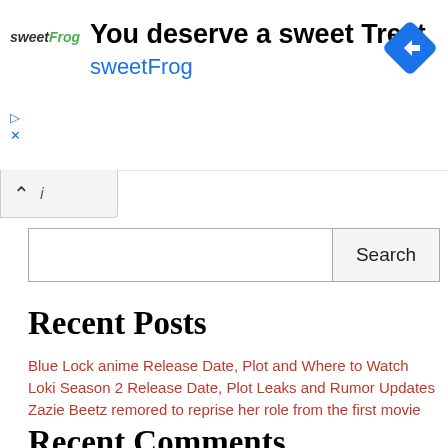[Figure (screenshot): sweetFrog advertisement banner with logo, text 'You deserve a sweet Treat sweetFrog', blue diamond navigation icon, and ad controls]
Search
Recent Posts
Blue Lock anime Release Date, Plot and Where to Watch
Loki Season 2 Release Date, Plot Leaks and Rumor Updates
Zazie Beetz remored to reprise her role from the first movie in Joker: Folie a Deux
Made in Abyss Season 3 Release Date, Trailer Launch and Expectations
Log Horizon Season 4 Release Date, Renewal Status and Watch online
Recent Comments